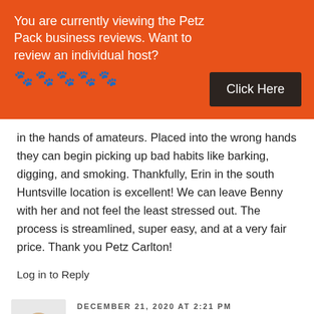You are currently viewing the Petz Pack business reviews. Want to review an individual host?
[Figure (illustration): Five orange paw print icons in a row]
Click Here
in the hands of amateurs. Placed into the wrong hands they can begin picking up bad habits like barking, digging, and smoking. Thankfully, Erin in the south Huntsville location is excellent! We can leave Benny with her and not feel the least stressed out. The process is streamlined, super easy, and at a very fair price. Thank you Petz Carlton!
Log in to Reply
DECEMBER 21, 2020 AT 2:21 PM
[Figure (photo): Avatar image of a dog (beagle-type) with a food bowl]
Susan Morley